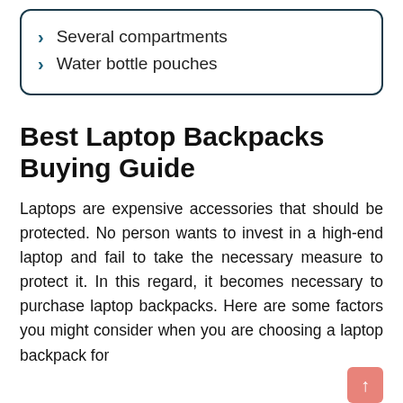Several compartments
Water bottle pouches
Best Laptop Backpacks Buying Guide
Laptops are expensive accessories that should be protected. No person wants to invest in a high-end laptop and fail to take the necessary measure to protect it. In this regard, it becomes necessary to purchase laptop backpacks. Here are some factors you might consider when you are choosing a laptop backpack for...